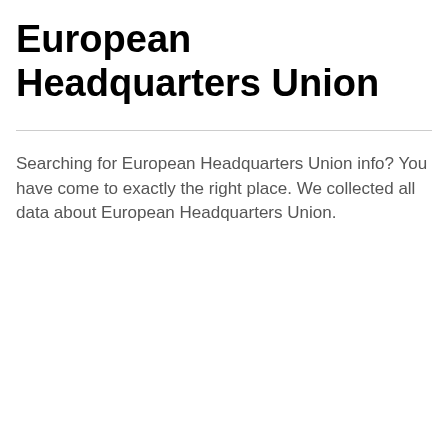European Headquarters Union
Searching for European Headquarters Union info? You have come to exactly the right place. We collected all data about European Headquarters Union.